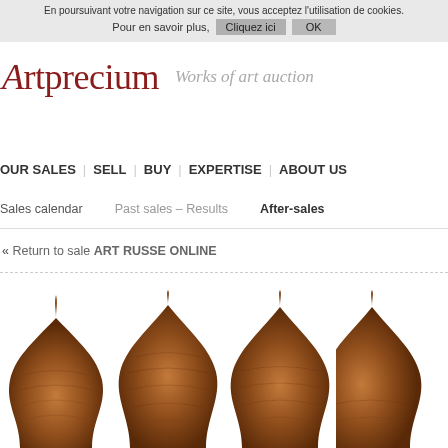En poursuivant votre navigation sur ce site, vous acceptez l'utilisation de cookies. Pour en savoir plus, Cliquez ici OK
Artprecium — Works of art auction
OUR SALES | SELL | BUY | EXPERTISE | ABOUT US
Sales calendar  Past sales – Results  After-sales
« Return to sale ART RUSSE ONLINE
[Figure (photo): Four decorative onion-dome shaped carved wooden panels arranged side by side, partially cropped at bottom of page]